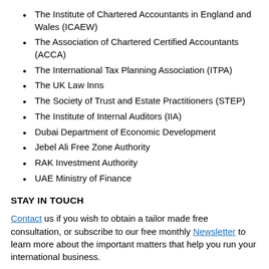The Institute of Chartered Accountants in England and Wales (ICAEW)
The Association of Chartered Certified Accountants (ACCA)
The International Tax Planning Association (ITPA)
The UK Law Inns
The Society of Trust and Estate Practitioners (STEP)
The Institute of Internal Auditors (IIA)
Dubai Department of Economic Development
Jebel Ali Free Zone Authority
RAK Investment Authority
UAE Ministry of Finance
STAY IN TOUCH
Contact us if you wish to obtain a tailor made free consultation, or subscribe to our free monthly Newsletter to learn more about the important matters that help you run your international business.